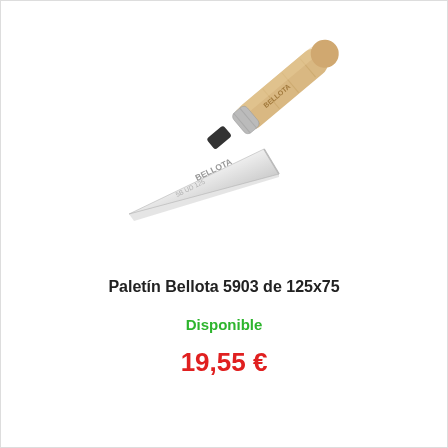[Figure (photo): A Bellota brand pointing trowel (paletín) with a shiny triangular steel blade and a light wood handle with metal ferrule, positioned diagonally with handle upper-right and blade tip lower-left. The blade is engraved with 'BELLOTA' and model markings.]
Paletín Bellota 5903 de 125x75
Disponible
19,55 €